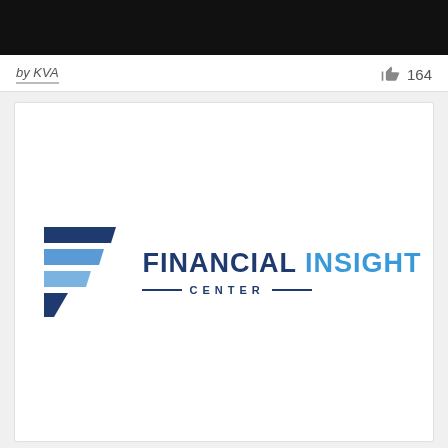[Figure (other): Black banner/header bar at top of page]
by KVA
164
[Figure (logo): Financial Insight Center logo with stylized F icon in dark blue and light blue, followed by text FINANCIAL INSIGHT in two-tone blue and CENTER with decorative lines below]